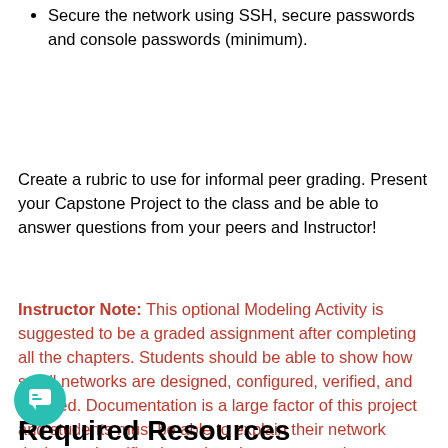Secure the network using SSH, secure passwords and console passwords (minimum).
Create a rubric to use for informal peer grading. Present your Capstone Project to the class and be able to answer questions from your peers and Instructor!
Instructor Note: This optional Modeling Activity is suggested to be a graded assignment after completing all the chapters. Students should be able to show how small networks are designed, configured, verified, and secured. Documentation is a large factor of this project and students must be able to explain their network design and verification using show commands.
Required Resources